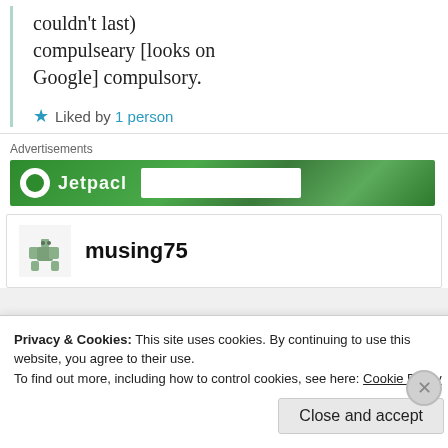couldn't last) compulseary [looks on Google] compulsory.
★ Liked by 1 person
Advertisements
[Figure (other): Green advertisement banner for Jetpack]
musing75
Privacy & Cookies: This site uses cookies. By continuing to use this website, you agree to their use. To find out more, including how to control cookies, see here: Cookie Policy
Close and accept